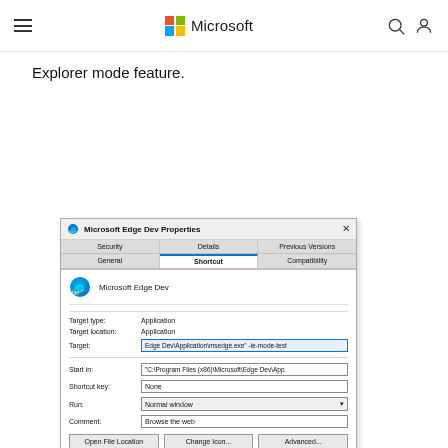Microsoft
Explorer mode feature.
[Figure (screenshot): Microsoft Edge Dev Properties dialog box showing the Shortcut tab. Fields include Target type: Application, Target location: Application, Target: ...Edge Dev\Application\msedge.exe" -ie-mode-test, Start in: "C:\Program Files (x86)\Microsoft\Edge Dev\App, Shortcut key: None, Run: Normal window, Comment: Browse the web. Buttons: Open File Location, Change Icon..., Advanced...]